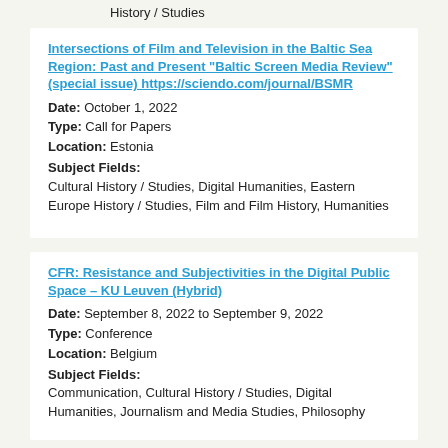History / Studies
Intersections of Film and Television in the Baltic Sea Region: Past and Present "Baltic Screen Media Review" (special issue) https://sciendo.com/journal/BSMR
Date: October 1, 2022
Type: Call for Papers
Location: Estonia
Subject Fields:
Cultural History / Studies, Digital Humanities, Eastern Europe History / Studies, Film and Film History, Humanities
CFR: Resistance and Subjectivities in the Digital Public Space – KU Leuven (Hybrid)
Date: September 8, 2022 to September 9, 2022
Type: Conference
Location: Belgium
Subject Fields:
Communication, Cultural History / Studies, Digital Humanities, Journalism and Media Studies, Philosophy